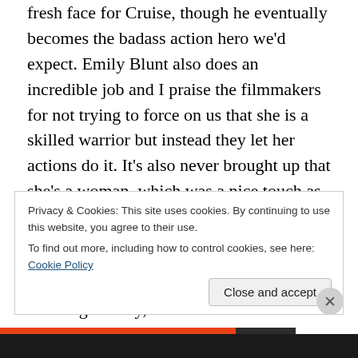fresh face for Cruise, though he eventually becomes the badass action hero we'd expect. Emily Blunt also does an incredible job and I praise the filmmakers for not trying to force on us that she is a skilled warrior but instead they let her actions do it. It's also never brought up that she's a woman, which was a nice touch as well, as there should be nothing shocking about that.
The movie relies on the concept of resetting the day, in a fashion similar to Groundhog Day. The story of aliens attacking Earth isn't new, but this concept gave the movie a fresh makeover. Other critics have said this, and I
Privacy & Cookies: This site uses cookies. By continuing to use this website, you agree to their use.
To find out more, including how to control cookies, see here: Cookie Policy